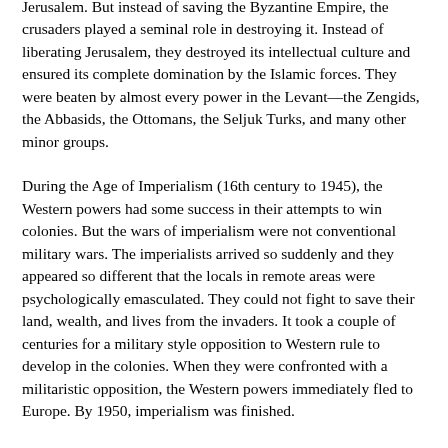Jerusalem. But instead of saving the Byzantine Empire, the crusaders played a seminal role in destroying it. Instead of liberating Jerusalem, they destroyed its intellectual culture and ensured its complete domination by the Islamic forces. They were beaten by almost every power in the Levant—the Zengids, the Abbasids, the Ottomans, the Seljuk Turks, and many other minor groups.
During the Age of Imperialism (16th century to 1945), the Western powers had some success in their attempts to win colonies. But the wars of imperialism were not conventional military wars. The imperialists arrived so suddenly and they appeared so different that the locals in remote areas were psychologically emasculated. They could not fight to save their land, wealth, and lives from the invaders. It took a couple of centuries for a military style opposition to Western rule to develop in the colonies. When they were confronted with a militaristic opposition, the Western powers immediately fled to Europe. By 1950, imperialism was finished.
The First and the Second World Wars were European wars in which the Europeans and North Americans are...